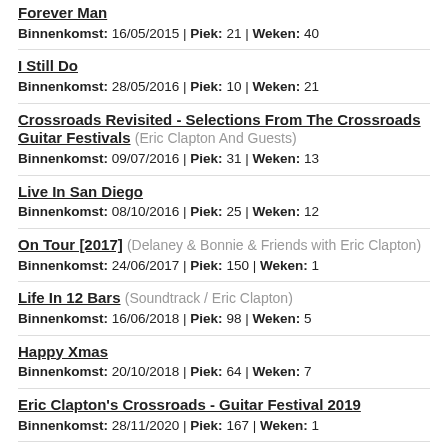Forever Man
Binnenkomst: 16/05/2015 | Piek: 21 | Weken: 40
I Still Do
Binnenkomst: 28/05/2016 | Piek: 10 | Weken: 21
Crossroads Revisited - Selections From The Crossroads Guitar Festivals (Eric Clapton And Guests)
Binnenkomst: 09/07/2016 | Piek: 31 | Weken: 13
Live In San Diego
Binnenkomst: 08/10/2016 | Piek: 25 | Weken: 12
On Tour [2017] (Delaney & Bonnie & Friends with Eric Clapton)
Binnenkomst: 24/06/2017 | Piek: 150 | Weken: 1
Life In 12 Bars (Soundtrack / Eric Clapton)
Binnenkomst: 16/06/2018 | Piek: 98 | Weken: 5
Happy Xmas
Binnenkomst: 20/10/2018 | Piek: 64 | Weken: 7
Eric Clapton's Crossroads - Guitar Festival 2019
Binnenkomst: 28/11/2020 | Piek: 167 | Weken: 1
Eric Clapton